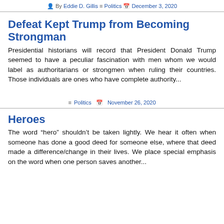By Eddie D. Gillis · Politics · December 3, 2020
Defeat Kept Trump from Becoming Strongman
Presidential historians will record that President Donald Trump seemed to have a peculiar fascination with men whom we would label as authoritarians or strongmen when ruling their countries. Those individuals are ones who have complete authority...
Politics · November 26, 2020
Heroes
The word “hero” shouldn’t be taken lightly. We hear it often when someone has done a good deed for someone else, where that deed made a difference/change in their lives. We place special emphasis on the word when one person saves another...